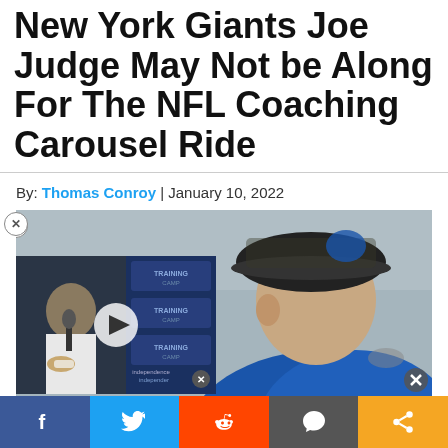New York Giants Joe Judge May Not be Along For The NFL Coaching Carousel Ride
By: Thomas Conroy | January 10, 2022
[Figure (photo): Photo of NFL coach Joe Judge in a blue Giants jacket and black camouflage cap, with an overlaid video thumbnail of a football player at a press conference with a play button]
Social share bar with Facebook, Twitter, Reddit, Comment, and Share buttons